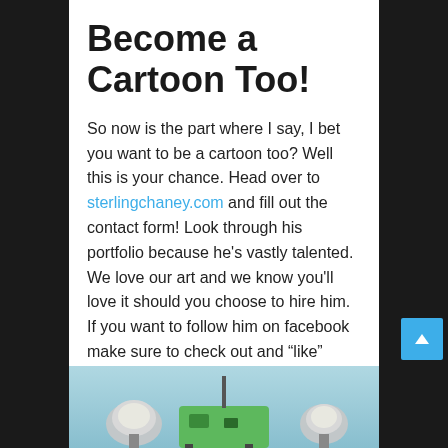Become a Cartoon Too!
So now is the part where I say, I bet you want to be a cartoon too? Well this is your chance. Head over to sterlingchaney.com and fill out the contact form! Look through his portfolio because he's vastly talented. We love our art and we know you'll love it should you choose to hire him. If you want to follow him on facebook make sure to check out and “like” Sterling Chaney Art and follow @sterlingchaneyart on instagram!
Cheers to 2018!
[Figure (illustration): Illustration of cartoon-style studio equipment including cameras/lights on a teal/blue-green background, partially cut off at bottom of page]